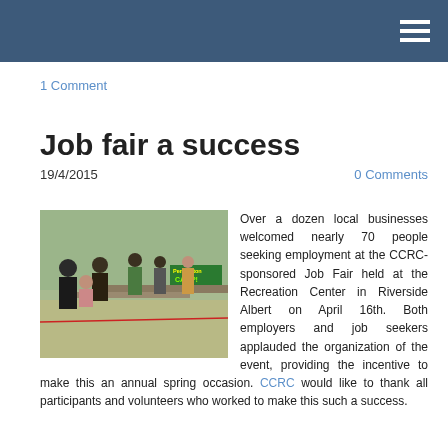1 Comment
Job fair a success
19/4/2015
0 Comments
[Figure (photo): Indoor gymnasium/recreation center with people standing and sitting at tables during a job fair. A banner reading 'CAMP!' is visible in the background.]
Over a dozen local businesses welcomed nearly 70 people seeking employment at the CCRC-sponsored Job Fair held at the Recreation Center in Riverside Albert on April 16th. Both employers and job seekers applauded the organization of the event, providing the incentive to make this an annual spring occasion. CCRC would like to thank all participants and volunteers who worked to make this such a success.